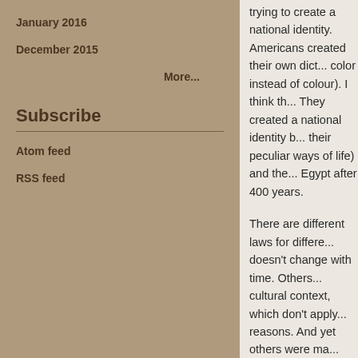January 2016
December 2015
More...
Subscribe
Atom feed
RSS feed
trying to create a national identity. Americans created their own dict... color instead of colour). I think th... They created a national identity b... their peculiar ways of life) and the... Egypt after 400 years.
There are different laws for differe... doesn't change with time. Others ... cultural context, which don't apply... reasons. And yet others were ma...
That's what I think, anyway.
Sam,
That is quite a good listing of lega... thing is probably a huge driving fo... category while being metaphor. T... God would be as plain to see as ... think of the Parable of the Weddi... statute. In the parable, a king pre...